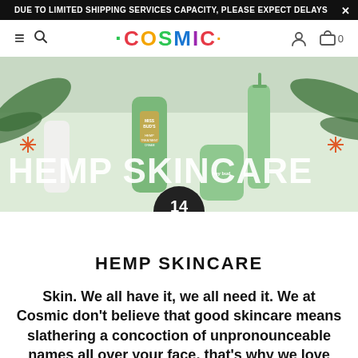DUE TO LIMITED SHIPPING SERVICES CAPACITY, PLEASE EXPECT DELAYS ×
[Figure (screenshot): Navigation bar with hamburger menu, search icon, COSMIC rainbow logo, user account icon, and cart with 0 items]
[Figure (photo): Hero banner image showing hemp skincare products including Miss Bud's Hemp Treatment Cream and Hey Bud bottles on a light background with green leaves. Large text overlay reads HEMP SKINCARE. Dark circular date badge showing 14 Jun.]
HEMP SKINCARE
Skin. We all have it, we all need it. We at Cosmic don't believe that good skincare means slathering a concoction of unpronounceable names all over your face, that's why we love Hemp-based skincare